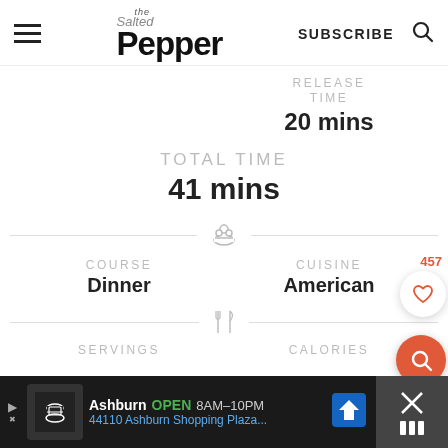the Salted Pepper | SUBSCRIBE
RELEASE TIME
20 mins
TOTAL TIME
41 mins
COURSE
Dinner
CUISINE
American
457
SERVINGS
CALORIES
Ashburn OPEN 8AM–10PM 44110 Ashburn Shopping Plaza...